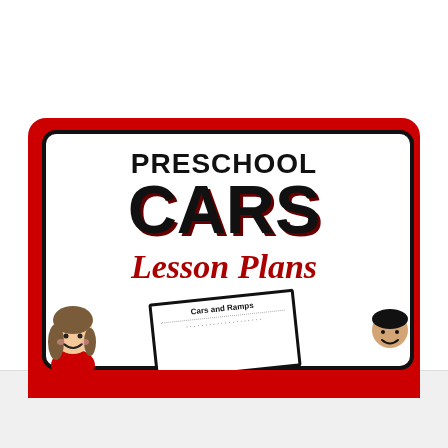PRESCHOOL CARS Lesson Plans
[Figure (illustration): Educational cover page for Preschool Cars Lesson Plans. Red background with white rounded card in center. Large bold text reads PRESCHOOL in black, CARS in large black bold letters with dark red shadow, and Lesson Plans in red italic cursive. A cartoon girl character appears bottom left, a small card reading 'Cars and Ramps' appears in center bottom, and a partial cartoon boy appears bottom right. Below the main card is a faded strip showing worksheet previews with text 'I Like to Drive'.]